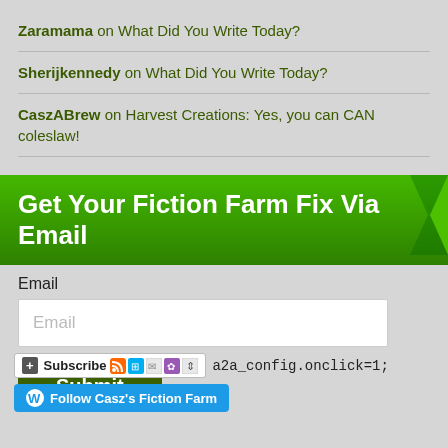Zaramama on What Did You Write Today?
Sherijkennedy on What Did You Write Today?
CaszABrew on Harvest Creations: Yes, you can CAN coleslaw!
Get Your Fiction Farm Fix Via Email
Email
Email
Submit
Subscribe  a2a_config.onclick=1;
Follow Casz's Fiction Farm